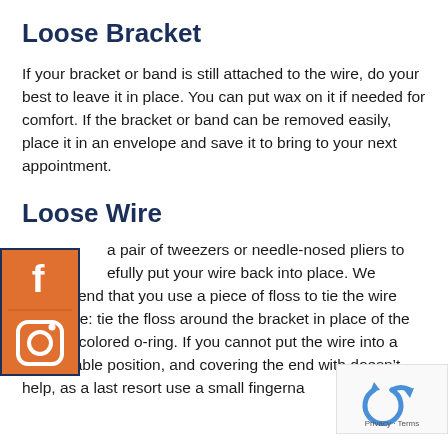Loose Bracket
If your bracket or band is still attached to the wire, do your best to leave it in place. You can put wax on it if needed for comfort. If the bracket or band can be removed easily, place it in an envelope and save it to bring to your next appointment.
Loose Wire
[Figure (other): Social media icons widget (Facebook and Instagram) overlaid on the left side of the page]
a pair of tweezers or needle-nosed pliers to carefully put your wire back into place. We recommend that you use a piece of floss to tie the wire into place: tie the floss around the bracket in place of the missing colored o-ring. If you cannot put the wire into a comfortable position, and covering the end with doesn’t help, as a last resort use a small fingerna
[Figure (other): reCAPTCHA widget with Privacy and Terms links in lower right corner]